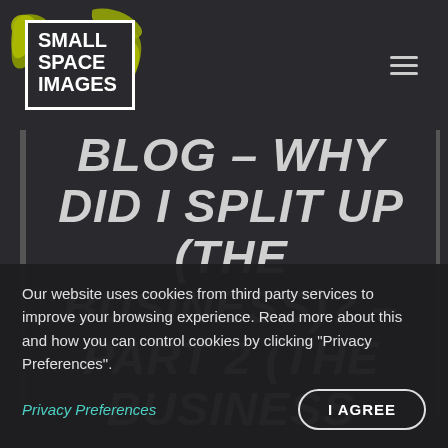[Figure (logo): Small Space Images logo: white text reading SMALL SPACE IMAGES in a white-bordered box, with yellow-green paint splash decorative elements behind it]
BLOG – WHY DID I SPLIT UP (THE BUSINESS)? – PART 2 (THE BUSINESS...
Our website uses cookies from third party services to improve your browsing experience. Read more about this and how you can control cookies by clicking "Privacy Preferences".
Privacy Preferences
I AGREE